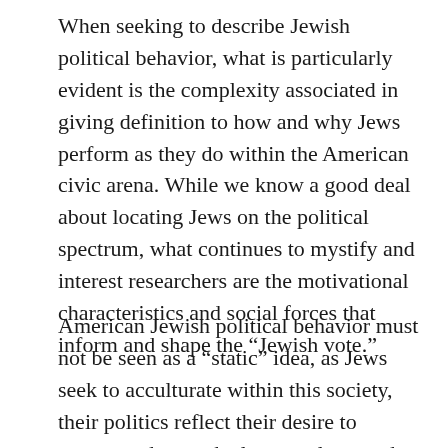When seeking to describe Jewish political behavior, what is particularly evident is the complexity associated in giving definition to how and why Jews perform as they do within the American civic arena. While we know a good deal about locating Jews on the political spectrum, what continues to mystify and interest researchers are the motivational characteristics and social forces that inform and shape the “Jewish vote.”
American Jewish political behavior must not be seen as a “static” idea, as Jews seek to acculturate within this society, their politics reflect their desire to accommodate to the larger culture and to their own shifting identities. Yet, as the data would suggest Jews remain deeply loyal to a set of political values and retain a commitment a number of core self-interest issues